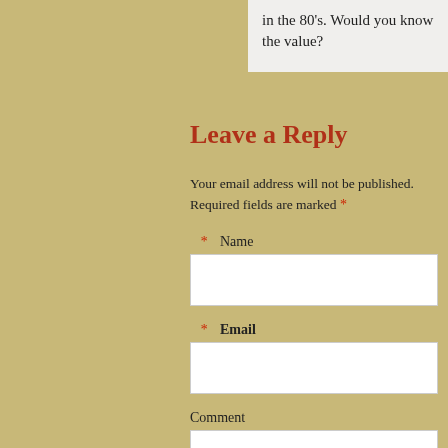in the 80's. Would you know the value?
Leave a Reply
Your email address will not be published. Required fields are marked *
* Name
* Email
Comment